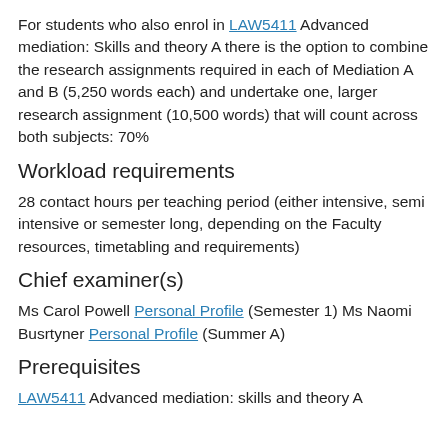For students who also enrol in LAW5411 Advanced mediation: Skills and theory A there is the option to combine the research assignments required in each of Mediation A and B (5,250 words each) and undertake one, larger research assignment (10,500 words) that will count across both subjects: 70%
Workload requirements
28 contact hours per teaching period (either intensive, semi intensive or semester long, depending on the Faculty resources, timetabling and requirements)
Chief examiner(s)
Ms Carol Powell Personal Profile (Semester 1) Ms Naomi Busrtyner Personal Profile (Summer A)
Prerequisites
LAW5411 Advanced mediation: skills and theory A